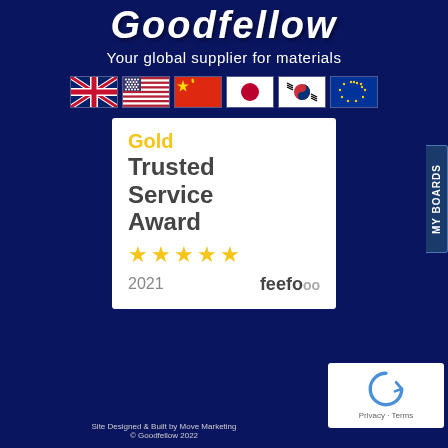Goodfellow
Your global supplier for materials
[Figure (illustration): Six country flags in a row: UK, USA, China, Japan, South Korea, European Union]
[Figure (illustration): Gold Trusted Service Award 2021 badge from feefo with 5 gold stars]
Site Designed & Built by Move Marketing
© Goodfellow 2022